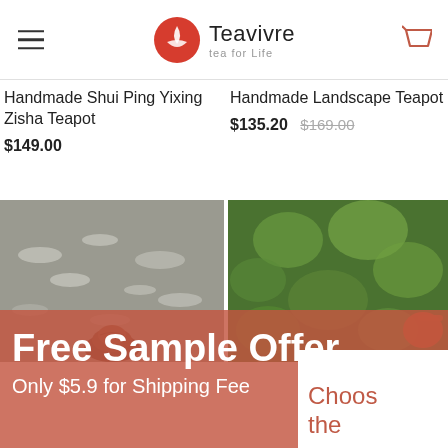Teavivre — tea for Life
Handmade Shui Ping Yixing Zisha Teapot
$149.00
Handmade Landscape Teapot
$135.20  $169.00
[Figure (photo): Close-up photo of a dark clay teapot figurine against a blurred water-reflection background]
[Figure (photo): Blurred green bokeh background, partial view of a teapot or tea accessory]
Free Sample Offer
Only $5.9 for Shipping Fee
Choos
the